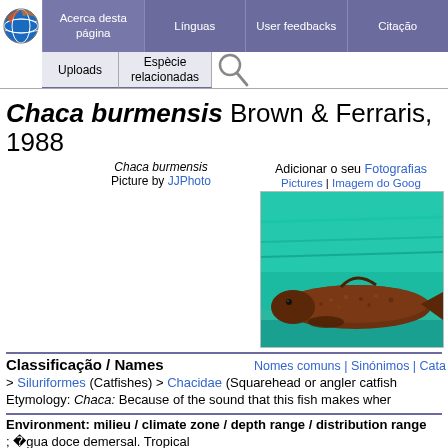Acerca desta página | Línguas | User feedbacks | Citação | Uploads | Espècie relacionadas
Chaca burmensis Brown & Ferraris, 1988
Adicionar o seu Fotografias
Pictures | Imagem do Goog
[Figure (photo): Photo of Chaca burmensis fish, brown coloring against teal/aqua background]
Chaca burmensis
Picture by JJPhoto
Classificação / Names
Nomes comuns | Sinónimos | Cata
> Siluriformes (Catfishes) > Chacidae (Squarehead or angler catfish
Etymology: Chaca: Because of the sound that this fish makes wher
Environment: milieu / climate zone / depth range / distribution range
;  gua doce demersal. Tropical